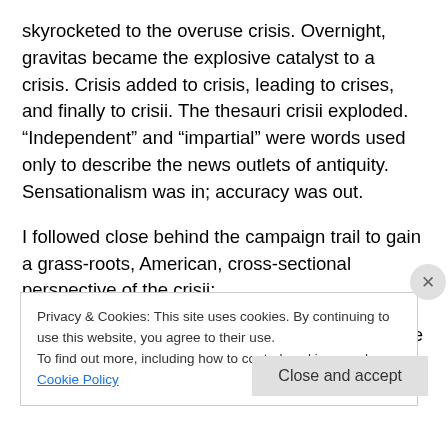skyrocketed to the overuse crisis. Overnight, gravitas became the explosive catalyst to a crisis. Crisis added to crisis, leading to crises, and finally to crisii. The thesauri crisii exploded. “Independent” and “impartial” were words used only to describe the news outlets of antiquity. Sensationalism was in; accuracy was out.
I followed close behind the campaign trail to gain a grass-roots, American, cross-sectional perspective of the crisii:
“Nowhere is this crisii more prevalent than on the
Privacy & Cookies: This site uses cookies. By continuing to use this website, you agree to their use.
To find out more, including how to control cookies, see here: Cookie Policy
Close and accept